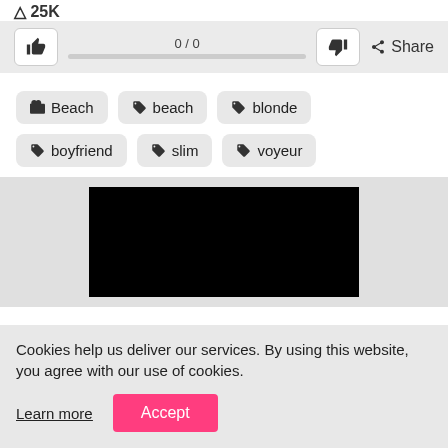25K
[Figure (screenshot): Like/dislike voting bar showing 0/0 score with thumbs up and thumbs down buttons, and a Share button]
Beach
beach
blonde
boyfriend
slim
voyeur
[Figure (photo): Black video thumbnail/preview image]
Cookies help us deliver our services. By using this website, you agree with our use of cookies.
Learn more
Accept